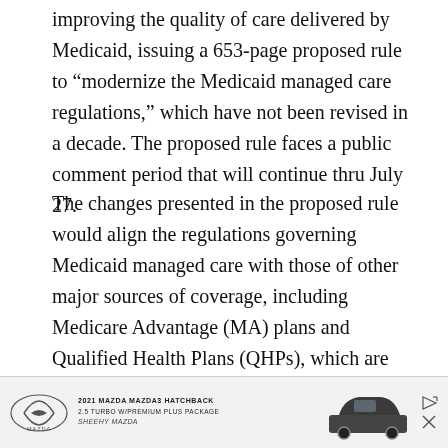improving the quality of care delivered by Medicaid, issuing a 653-page proposed rule to “modernize the Medicaid managed care regulations,” which have not been revised in a decade. The proposed rule faces a public comment period that will continue thru July 27.
The changes presented in the proposed rule would align the regulations governing Medicaid managed care with those of other major sources of coverage, including Medicare Advantage (MA) plans and Qualified Health Plans (QHPs), which are offered thru health insurance exchanges (marketplaces). CMS has said that the proposed Medicaid measures will emphasize evaluating health outcomes and the patient experience enrollees have with private plans. In addition, the proposed rule
[Figure (other): Advertisement banner for 2021 Mazda Mazda3 Hatchback 2.5 Turbo w/Premium Plus Package by Sheehy Mazda, featuring the Mazda logo on the left, text in the center, and a photo of a dark-colored Mazda3 Hatchback on the right.]